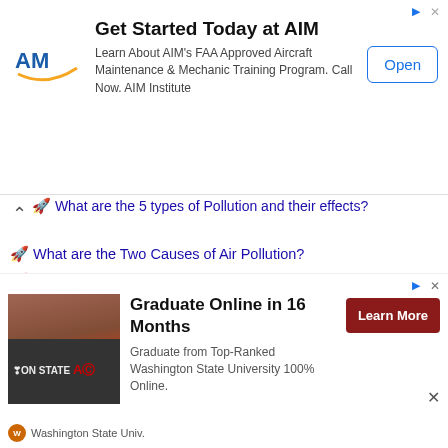[Figure (other): AIM Institute advertisement banner: Get Started Today at AIM. Learn About AIM's FAA Approved Aircraft Maintenance & Mechanic Training Program. Call Now. AIM Institute. Open button.]
What are the 5 types of Pollution and their effects?
What are the Two Causes of Air Pollution?
What is Air Quality Management?
What is Particulate Matter 2.5?
What is considered Fine Particulate Matter?
What is Ambient Air Pollution?
What is Ambient Air Quality?
Air Quality Meaning? How Is Air Quality
[Figure (other): Washington State University advertisement: Graduate Online in 16 Months. Graduate from Top-Ranked Washington State University 100% Online. Learn More button. Campus photo with WSU sign.]